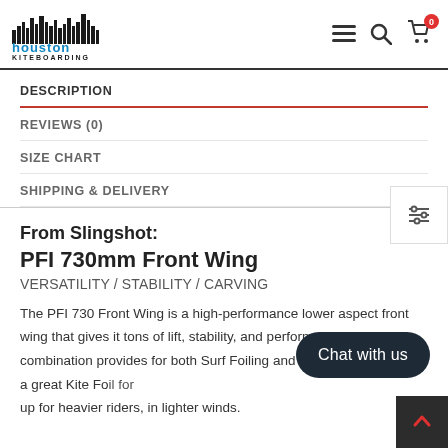Houston Kiteboarding
DESCRIPTION
REVIEWS (0)
SIZE CHART
SHIPPING & DELIVERY
From Slingshot:
PFI 730mm Front Wing
VERSATILITY / STABILITY / CARVING
The PFI 730 Front Wing is a high-performance lower aspect front wing that gives it tons of lift, stability, and performance. This combination provides for both Surf Foiling and Wing Foiling. It’s also a great Kite Foil for heavier riders in lighter winds.